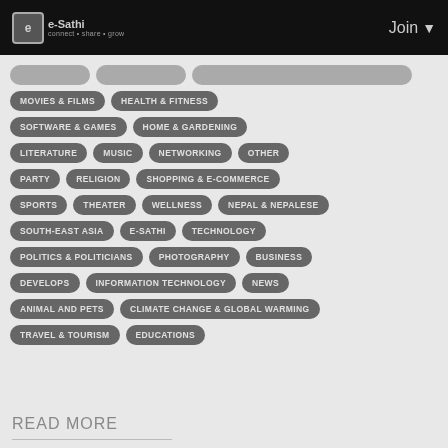e-Sathi | Join
MOVIES & FILMS
HEALTH & FITNESS
SOFTWARE & GAMES
HOME & GARDENING
LITERATURE
MUSIC
NETWORKING
OTHER
PARTY
RELIGION
SHOPPING & E-COMMERCE
SPORTS
THEATER
WELLNESS
NEPAL & NEPALESE
SOUTH-EAST ASIA
E-SATHI
TECHNOLOGY
POLITICS & POLITICIANS
PHOTOGRAPHY
BUSINESS
DEVELOPS
INFORMATION TECHNOLOGY
NEWS
ANIMAL AND PETS
CLIMATE CHANGE & GLOBAL WARMING
TRAVEL & TOURISM
EDUCATIONS
READ MORE